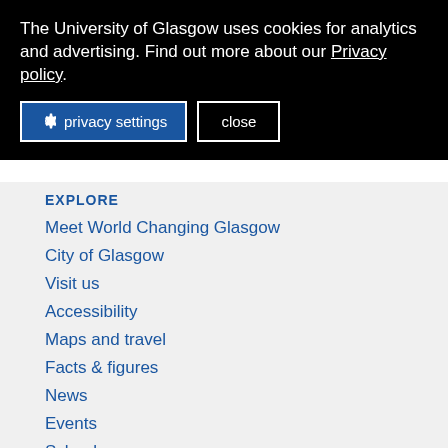The University of Glasgow uses cookies for analytics and advertising. Find out more about our Privacy policy.
privacy settings   close
EXPLORE
Meet World Changing Glasgow
City of Glasgow
Visit us
Accessibility
Maps and travel
Facts & figures
News
Events
Schools
Colleges
Services
Library